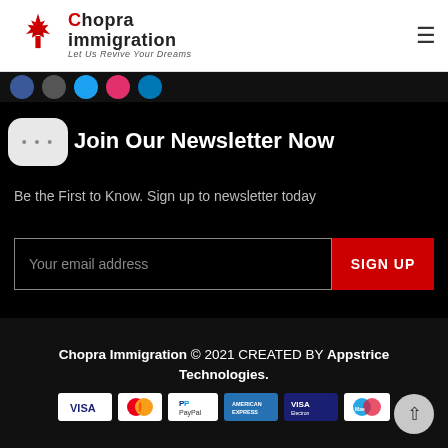[Figure (logo): Chopra Immigration logo with red maple leaf and text 'Let Us Revive Your Dreams']
Join Our Newsletter Now
Be the First to Know. Sign up to newsletter today
[Figure (screenshot): Email signup form with input field 'Your email address' and red SIGN UP button]
Chopra Immigration © 2021 CREATED BY Appstrice Technologies.
[Figure (other): Payment icons: VISA, MasterCard, PayPal, American Express, VISA Electron, Maestro]